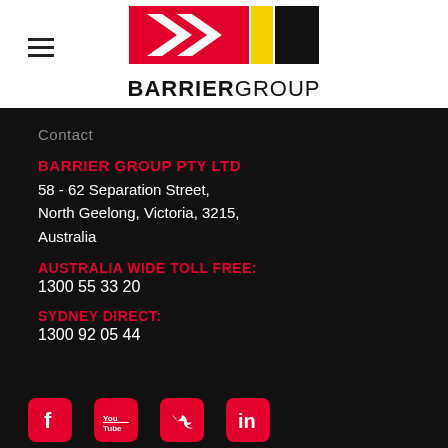[Figure (logo): Barrier Group logo with red chevron arrows, yellow and black rectangles, and BARRIERGROUP text]
Contact
BARRIER GROUP PTY LTD
58 - 62 Separation Street,
North Geelong, Victoria, 3215,
Australia
AUSTRALIA WIDE TOLL FREE:
1300 55 33 20
SYDNEY DIRECT:
1300 92 05 44
[Figure (illustration): Social media icons: Facebook, YouTube, Twitter, LinkedIn — red rounded square icons]